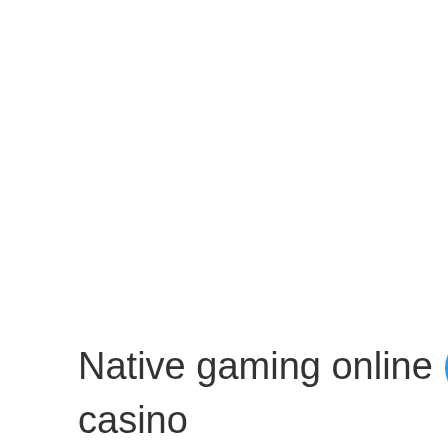Native gaming online casino
[Figure (other): Blue circular button with three white dots (more options / ellipsis button)]